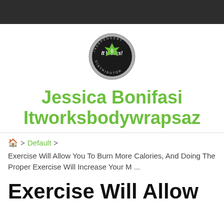[Figure (logo): It Works! Independent Distributor circular badge logo with green star/arrow design on dark background with silver border and text around the ring reading INDEPENDENT DISTRIBUTOR]
Jessica Bonifasi Itworksbodywrapsaz
🏠 > Default > Exercise Will Allow You To Burn More Calories, And Doing The Proper Exercise Will Increase Your M ...
Exercise Will Allow